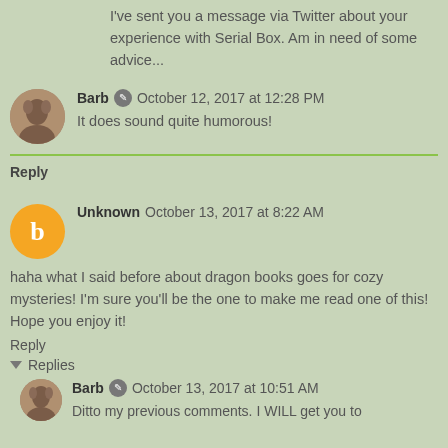I've sent you a message via Twitter about your experience with Serial Box. Am in need of some advice...
Barb · October 12, 2017 at 12:28 PM
It does sound quite humorous!
Reply
Unknown October 13, 2017 at 8:22 AM
haha what I said before about dragon books goes for cozy mysteries! I'm sure you'll be the one to make me read one of this! Hope you enjoy it!
Reply
Replies
Barb · October 13, 2017 at 10:51 AM
Ditto my previous comments. I WILL get you to